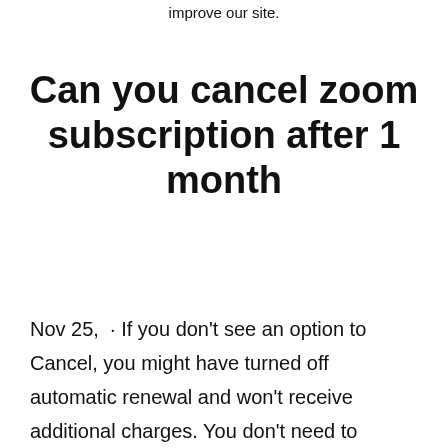improve our site.
Can you cancel zoom subscription after 1 month
Nov 25,  · If you don't see an option to Cancel, you might have turned off automatic renewal and won't receive additional charges. You don't need to cancel. Your subscription